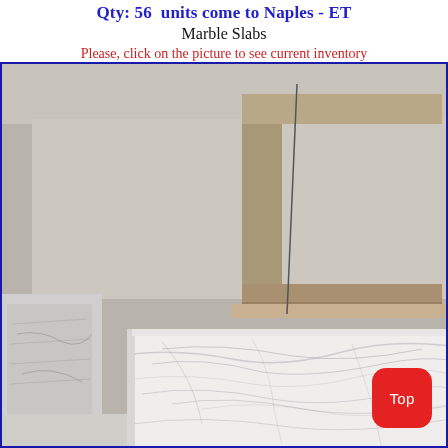Qty: 56  units come to Naples - ET
Marble Slabs
Please, click on the picture to see current inventory
[Figure (photo): Photograph of white Carrara marble slabs stacked in a warehouse or showroom. The foreground shows a large white marble slab with grey veining. Background shows other wrapped stone slabs and shelving infrastructure.]
Top